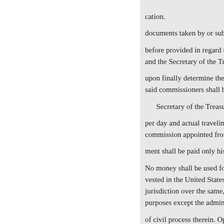cation.
documents taken by or submitted
before provided in regard to the p and the Secretary of the Treasury
upon finally determine the locati said commissioners shall be fixe
Secretary of the Treasury, but s
per day and actual traveling expe commission appointed from the T
ment shall be paid only his actua
No money shall be used for the p vested in the United States, nor u jurisdiction over the same, durin purposes except the administratio
of civil process therein. Open spa
The building shall be unexposed including streets and alleys.
Approved, January 21, 1891.